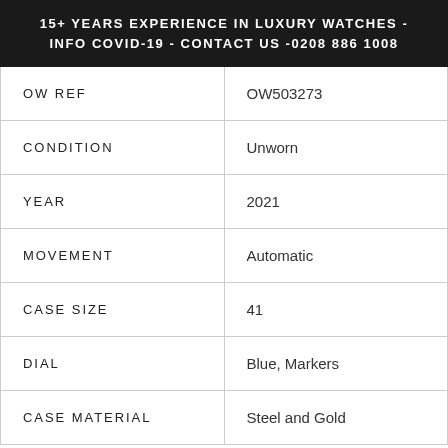15+ YEARS EXPERIENCE IN LUXURY WATCHES - INFO COVID-19 - CONTACT US -0208 886 1008
| OW REF | OW503273 |
| CONDITION | Unworn |
| YEAR | 2021 |
| MOVEMENT | Automatic |
| CASE SIZE | 41 |
| DIAL | Blue, Markers |
| CASE MATERIAL | Steel and Gold |